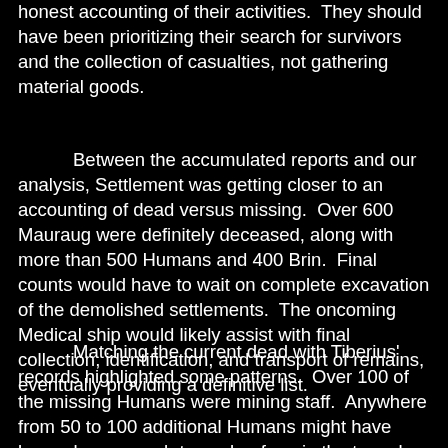honest accounting of their activities.  They should have been prioritizing their search for survivors and the collection of casualties, not gathering material goods.
Between the accumulated reports and our analysis, Settlement was getting closer to an accounting of dead versus missing.  Over 600 Mauraug were definitely deceased, along with more than 500 Humans and 400 Brin.  Final counts would have to wait on complete excavation of the demolished settlements.  The oncoming Medical ship would likely assist with final collection, identification, and transport of remains, eventually providing a definitive list.
Matching the current dead with Tiberius' records highlighted some patterns.  Over 100 of the missing Humans were mining staff.  Anywhere from 50 to 100 additional Humans might have been close enough to seek refuge in the tunnels.  By contrast, the majority of the unaccounted Mauraug were listed as construction laborers or military defense.  The construction workers might have be buried deeper beneath the Mauraug structures, delaying their discovery until crews started digging.